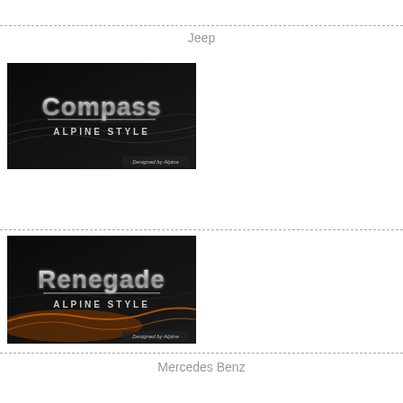Jeep
[Figure (illustration): Jeep Compass Alpine Style product image on black background with chrome text and wavy light design, 'Designed by Alpine' watermark]
[Figure (illustration): Jeep Renegade Alpine Style product image on black background with chrome text and orange/amber wavy light design, 'Designed by Alpine' watermark]
Mercedes Benz